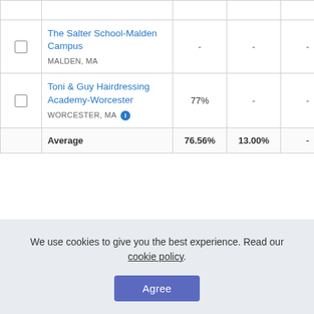|  | School | Col1 | Col2 | Col3 | Col4 | Col5 |
| --- | --- | --- | --- | --- | --- | --- |
| ☐ | The Salter School-Malden Campus
MALDEN, MA | - | - | - | 60% | 73% |
| ☐ | Toni & Guy Hairdressing Academy-Worcester
WORCESTER, MA | 77% | - | - | 75% | 50% |
|  | Average | 76.56% | 13.00% | - | 73.60% | 71.33 |
We use cookies to give you the best experience. Read our cookie policy.